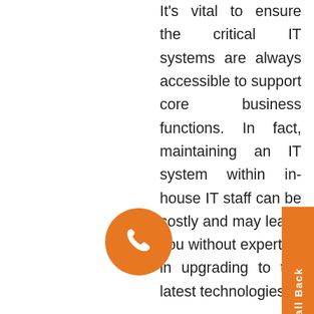It's vital to ensure the critical IT systems are always accessible to support core business functions. In fact, maintaining an IT system within in-house IT staff can be costly and may leave you without expertise in upgrading to the latest technologies.

Today Australian businesses are all covered with services to address ongoing managed IT support across the businesses. Our Managed IT Security Service in Australia will provide regular management of the systems and networks to keep the business PCs, servers, and networks running, minimising the downtime and maximising the productivity of each. IT Support Guy has built the right system of managed IT
[Figure (other): Orange circular phone/call button icon on the left side]